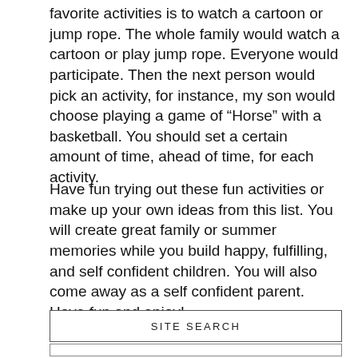favorite activities is to watch a cartoon or jump rope. The whole family would watch a cartoon or play jump rope. Everyone would participate. Then the next person would pick an activity, for instance, my son would choose playing a game of “Horse” with a basketball. You should set a certain amount of time, ahead of time, for each activity.
Have fun trying out these fun activities or make up your own ideas from this list. You will create great family or summer memories while you build happy, fulfilling, and self confident children. You will also come away as a self confident parent. Have fun and enjoy!
SITE SEARCH